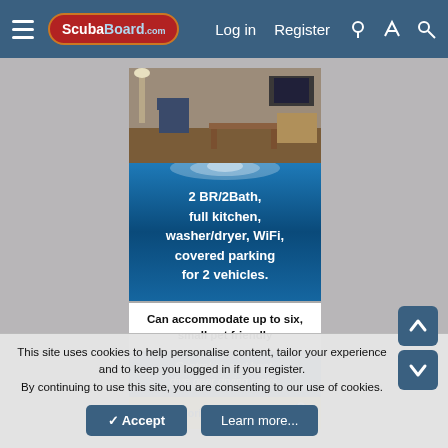ScubaBoard.com — Log in | Register
[Figure (screenshot): Advertisement banner for cavediveflorida.com showing a room interior photo, underwater water splash graphic, and text: 2 BR/2Bath, full kitchen, washer/dryer, WiFi, covered parking for 2 vehicles. Can accommodate up to six, small pet friendly. Central air and heat, dive gear drying racks. cavediveflorida.com]
This site uses cookies to help personalise content, tailor your experience and to keep you logged in if you register. By continuing to use this site, you are consenting to our use of cookies.
Accept | Learn more...